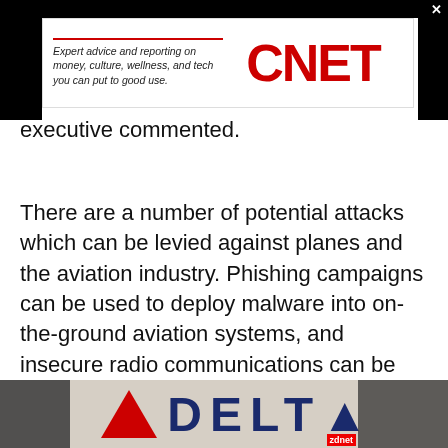[Figure (screenshot): CNET advertisement banner with italic tagline text 'Expert advice and reporting on money, culture, wellness, and tech you can put to good use.' and the CNET logo in red on the right.]
executive commented.
There are a number of potential attacks which can be levied against planes and the aviation industry. Phishing campaigns can be used to deploy malware into on-the-ground aviation systems, and insecure radio communications can be targeted using Software Defined Radio (SDR) devices, which are now freely available.
[Figure (photo): Photograph of people in front of a Delta Airlines sign showing the Delta triangle logo and the word DELTA in large navy letters. People including someone in a hat are visible on the left and right sides.]